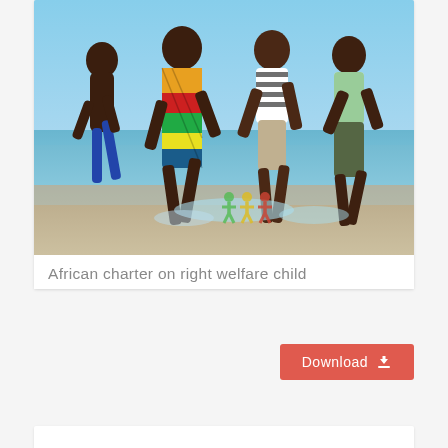[Figure (photo): Four African children running playfully through shallow water at a beach. They are wearing colorful clothing — one in a bright patterned dress, one in a striped shirt, one shirtless, one in a green top. Colored figure icons (green, yellow, red) are overlaid at the bottom of the image, resembling a children's rights or welfare organization logo. Two navigation dots (pink and green) appear below the image.]
African charter on right welfare child
Download